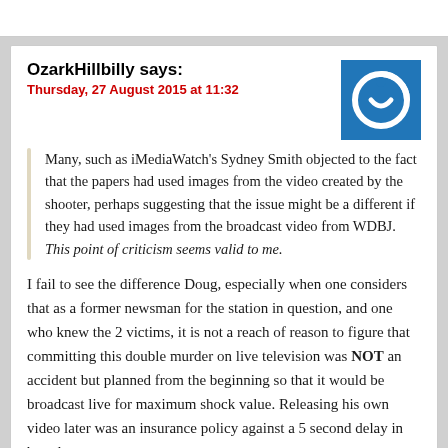OzarkHillbilly says:
Thursday, 27 August 2015 at 11:32
Many, such as iMediaWatch's Sydney Smith objected to the fact that the papers had used images from the video created by the shooter, perhaps suggesting that the issue might be a different if they had used images from the broadcast video from WDBJ. This point of criticism seems valid to me.
I fail to see the difference Doug, especially when one considers that as a former newsman for the station in question, and one who knew the 2 victims, it is not a reach of reason to figure that committing this double murder on live television was NOT an accident but planned from the beginning so that it would be broadcast live for maximum shock value. Releasing his own video later was an insurance policy against a 5 second delay in broadcast.